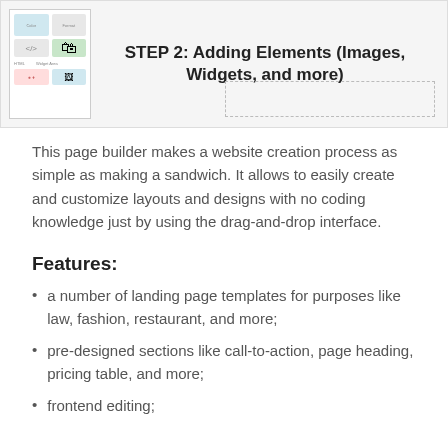[Figure (screenshot): Screenshot of a page builder interface showing a sidebar with elements panel and a canvas area with dashed placeholders. Title reads 'STEP 2: Adding Elements (Images, Widgets, and more)']
This page builder makes a website creation process as simple as making a sandwich. It allows to easily create and customize layouts and designs with no coding knowledge just by using the drag-and-drop interface.
Features:
a number of landing page templates for purposes like law, fashion, restaurant, and more;
pre-designed sections like call-to-action, page heading, pricing table, and more;
frontend editing;